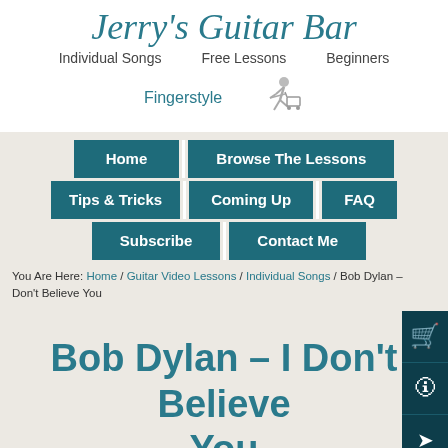Jerry's Guitar Bar
Individual Songs   Free Lessons   Beginners
Fingerstyle
[Figure (illustration): 3D figure running with a shopping cart]
Home | Browse The Lessons | Tips & Tricks | Coming Up | FAQ | Subscribe | Contact Me
You Are Here: Home / Guitar Video Lessons / Individual Songs / Bob Dylan – I Don't Believe You
Bob Dylan – I Don't Believe You